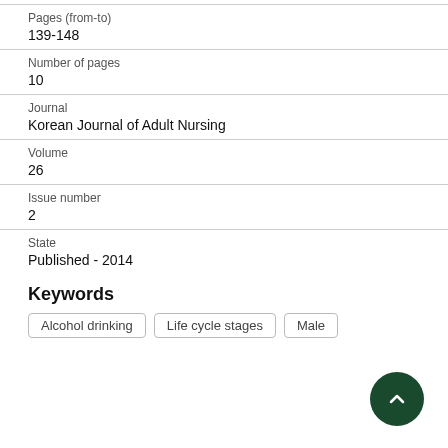Pages (from-to)
139-148
Number of pages
10
Journal
Korean Journal of Adult Nursing
Volume
26
Issue number
2
State
Published - 2014
Keywords
Alcohol drinking
Life cycle stages
Male